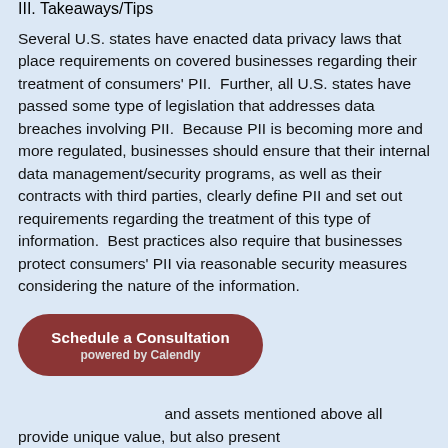III. Takeaways/Tips
Several U.S. states have enacted data privacy laws that place requirements on covered businesses regarding their treatment of consumers' PII.  Further, all U.S. states have passed some type of legislation that addresses data breaches involving PII.  Because PII is becoming more and more regulated, businesses should ensure that their internal data management/security programs, as well as their contracts with third parties, clearly define PII and set out requirements regarding the treatment of this type of information.  Best practices also require that businesses protect consumers' PII via reasonable security measures considering the nature of the information.
[Figure (other): A rounded rectangular button overlay labeled 'Schedule a Consultation' with 'powered by Calendly' beneath it, in dark red/maroon color.]
and assets mentioned above all provide unique value, but also present